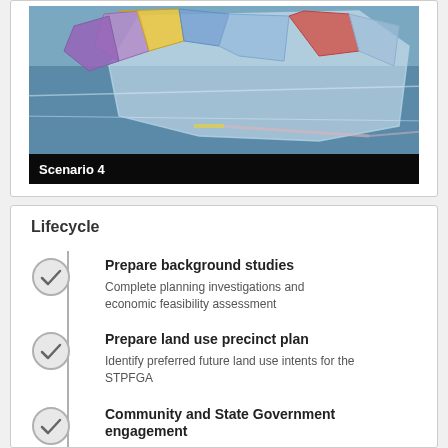[Figure (map): Aerial map showing Scenario 4 land use zones with colored overlays (yellow, purple, blue, red) over a satellite image of land parcels]
Scenario 4
Lifecycle
Prepare background studies
Complete planning investigations and economic feasibility assessment
Prepare land use precinct plan
Identify preferred future land use intents for the STPFGA
Community and State Government engagement
Consult residents and ratepayers on potential